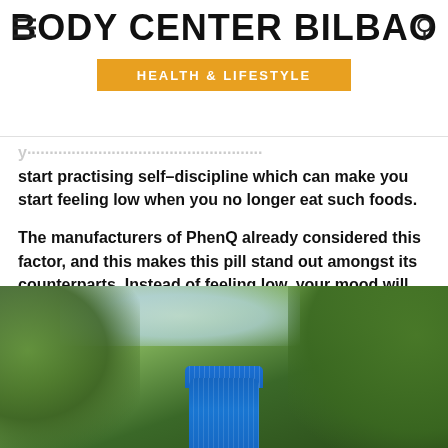BODY CENTER BILBAO — HEALTH & LIFESTYLE
start practising self-discipline which can make you start feeling low when you no longer eat such foods.
The manufacturers of PhenQ already considered this factor, and this makes this pill stand out amongst its counterparts. Instead of feeling low, your mood will be lifted and you can enjoy your weight loss process.
[Figure (photo): A blue supplement bottle photographed outdoors against a blurred green foliage background with some sky visible]